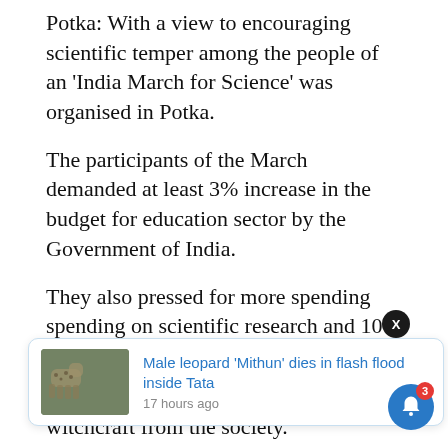Potka: With a view to encouraging scientific temper among the people of an ‘India March for Science’ was organised in Potka.
The participants of the March demanded at least 3% increase in the budget for education sector by the Government of India.
They also pressed for more spending spending on scientific research and 10% of the total budget to be allocated for education.
[Figure (screenshot): News notification popup showing 'Male leopard Mithun dies in flash flood inside Tata' with thumbnail image of leopard, posted 17 hours ago. Overlaid on article text. Black X close button and blue bell notification button with red badge showing 3.]
witchcraft from the society.